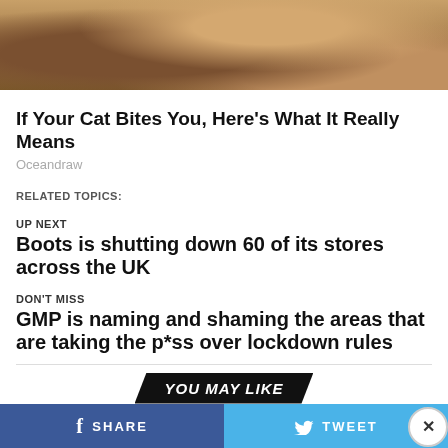[Figure (photo): Close-up photo of a cat with brown/orange fur]
If Your Cat Bites You, Here's What It Really Means
Oceandraw
RELATED TOPICS:
UP NEXT
Boots is shutting down 60 of its stores across the UK
DON'T MISS
GMP is naming and shaming the areas that are taking the p*ss over lockdown rules
YOU MAY LIKE
SHARE
TWEET
[Figure (infographic): Advertisement banner for CHAT & LIVE STREAM by clover, with image of person on beach and heart emojis]